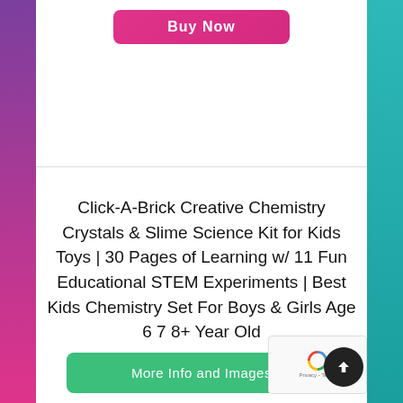[Figure (screenshot): Pink 'Buy Now' button at the top of the page]
Click-A-Brick Creative Chemistry Crystals & Slime Science Kit for Kids Toys | 30 Pages of Learning w/ 11 Fun Educational STEM Experiments | Best Kids Chemistry Set For Boys & Girls Age 6 7 8+ Year Old
[Figure (other): Green 'More Info and Images' button at the bottom]
[Figure (other): Scroll-to-top dark circle button with upward arrow, and reCAPTCHA Privacy/Terms badge]